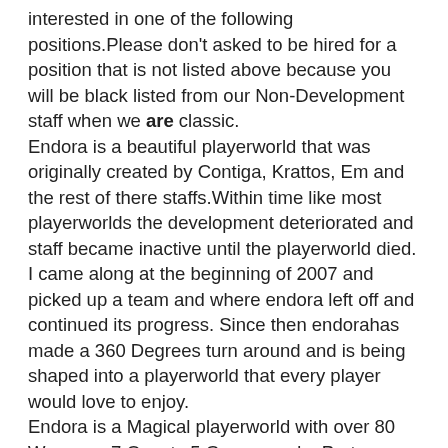interested in one of the following positions.Please don't asked to be hired for a position that is not listed above because you will be black listed from our Non-Development staff when we are classic.
Endora is a beautiful playerworld that was originally created by Contiga, Krattos, Em and the rest of there staffs.Within time like most playerworlds the development deteriorated and staff became inactive until the playerworld died. I came along at the beginning of 2007 and picked up a team and where endora left off and continued its progress. Since then endorahas made a 360 Degrees turn around and is being shaped into a playerworld that every player would love to enjoy.
Endora is a Magical playerworld with over 80 Weapons,7 Quests,5 Games and a Party System that involves Raids. Raids is a party that consist of more then 10 players in order to complete a massive Multi-Player quest.
Here is a few Snapshots out of the many that I COULD post.